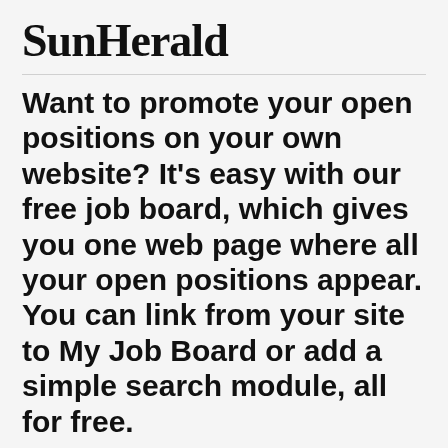SunHerald
Want to promote your open positions on your own website? It's easy with our free job board, which gives you one web page where all your open positions appear. You can link from your site to My Job Board or add a simple search module, all for free.
Download the My Job Board PDF
[Figure (other): Blue download button with PDF icon and text 'Download']